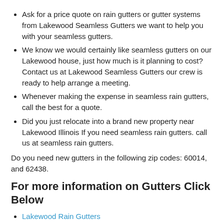Ask for a price quote on rain gutters or gutter systems from Lakewood Seamless Gutters we want to help you with your seamless gutters.
We know we would certainly like seamless gutters on our Lakewood house, just how much is it planning to cost? Contact us at Lakewood Seamless Gutters our crew is ready to help arrange a meeting.
Whenever making the expense in seamless rain gutters, call the best for a quote.
Did you just relocate into a brand new property near Lakewood Illinois If you need seamless rain gutters. call us at seamless rain gutters.
Do you need new gutters in the following zip codes: 60014, and 62438.
For more information on Gutters Click Below
Lakewood Rain Gutters
Gutter Contractor for Lakewood Illinois
Seamless Gutters for Lakewood Illinois
Leaf Protection for Lakewood Illinois
Aluminum Gutters for Lakewood